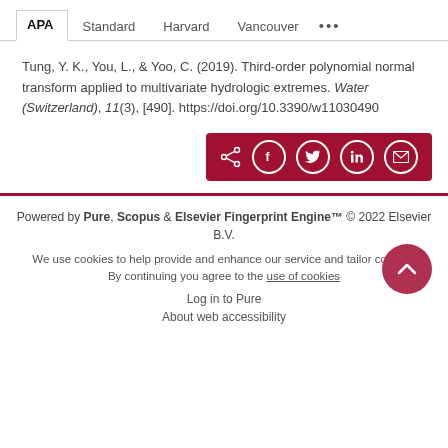APA  Standard  Harvard  Vancouver  ...
Tung, Y. K., You, L., & Yoo, C. (2019). Third-order polynomial normal transform applied to multivariate hydrologic extremes. Water (Switzerland), 11(3), [490]. https://doi.org/10.3390/w11030490
[Figure (other): Share bar with social media icons: share, Facebook, Twitter, LinkedIn, email]
Powered by Pure, Scopus & Elsevier Fingerprint Engine™ © 2022 Elsevier B.V.
We use cookies to help provide and enhance our service and tailor content. By continuing you agree to the use of cookies
Log in to Pure
About web accessibility